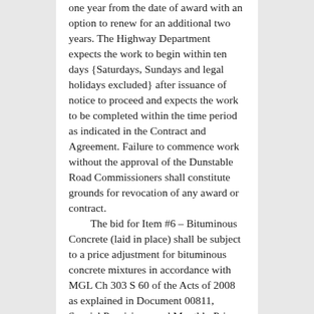one year from the date of award with an option to renew for an additional two years. The Highway Department expects the work to begin within ten days {Saturdays, Sundays and legal holidays excluded} after issuance of notice to proceed and expects the work to be completed within the time period as indicated in the Contract and Agreement. Failure to commence work without the approval of the Dunstable Road Commissioners shall constitute grounds for revocation of any award or contract. The bid for Item #6 – Bituminous Concrete (laid in place) shall be subject to a price adjustment for bituminous concrete mixtures in accordance with MGL Ch 303 S 60 of the Acts of 2008 as explained in Document 00811, Special Provisions, and Monthly Price